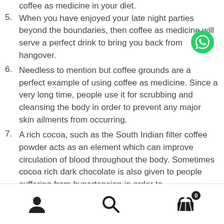5. When you have enjoyed your late night parties beyond the boundaries, then coffee as medicine will serve a perfect drink to bring you back from hangover.
6. Needless to mention but coffee grounds are a perfect example of using coffee as medicine. Since a very long time, people use it for scrubbing and cleansing the body in order to prevent any major skin ailments from occurring.
7. A rich cocoa, such as the South Indian filter coffee powder acts as an element which can improve circulation of blood throughout the body. Sometimes cocoa rich dark chocolate is also given to people suffering from hypertension in order to
User icon, Search icon, Cart icon (0)